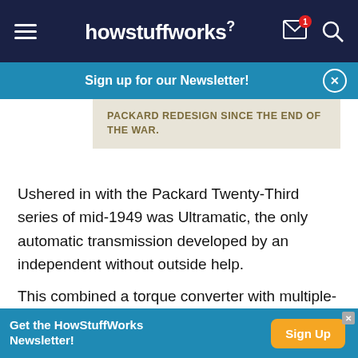howstuffworks
Sign up for our Newsletter!
PACKARD REDESIGN SINCE THE END OF THE WAR.
Ushered in with the Packard Twenty-Third series of mid-1949 was Ultramatic, the only automatic transmission developed by an independent without outside help.
This combined a torque converter with multiple-disc and direct-drive clutches, plus forward/reverse
Get the HowStuffWorks Newsletter!